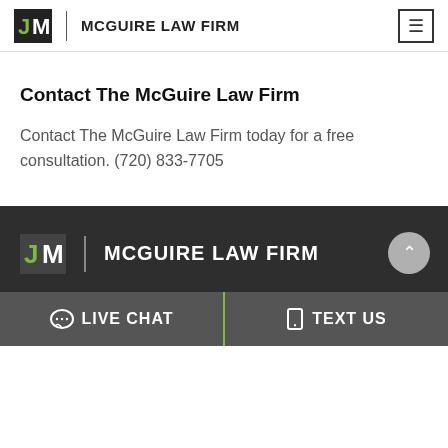McGuire Law Firm
Contact The McGuire Law Firm
Contact The McGuire Law Firm today for a free consultation. (720) 833-7705
[Figure (logo): McGuire Law Firm logo in footer — dark background version with JM monogram and firm name]
LIVE CHAT   TEXT US